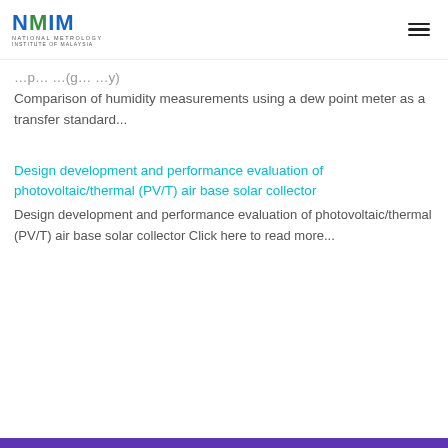NMIM National Metrology Institute of Malaysia
Comparison of humidity measurements using a dew point meter as a transfer standard...
Design development and performance evaluation of photovoltaic/thermal (PV/T) air base solar collector
Design development and performance evaluation of photovoltaic/thermal (PV/T) air base solar collector Click here to read more...